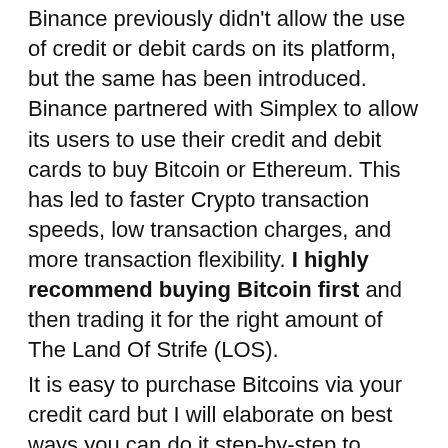Binance previously didn't allow the use of credit or debit cards on its platform, but the same has been introduced. Binance partnered with Simplex to allow its users to use their credit and debit cards to buy Bitcoin or Ethereum. This has led to faster Crypto transaction speeds, low transaction charges, and more transaction flexibility. I highly recommend buying Bitcoin first and then trading it for the right amount of The Land Of Strife (LOS).
It is easy to purchase Bitcoins via your credit card but I will elaborate on best ways you can do it step-by-step to make sure you understand all the trading nitty-gritty.
Move your mouse's cursor to 'Buy Crypto' tab found on the top bar and